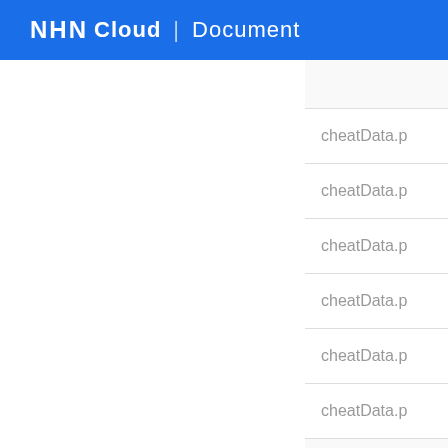NHN Cloud | Document
cheatData.p
cheatData.p
cheatData.p
cheatData.p
cheatData.p
cheatData.p